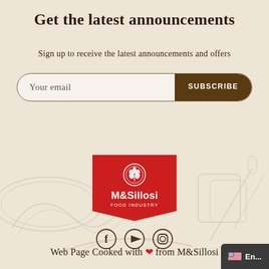Get the latest announcements
Sign up to receive the latest announcements and offers
[Figure (illustration): Email subscription form with 'Your email' input field and brown 'SUBSCRIBE' button, styled with rounded pill shape]
[Figure (logo): M&Sillosi Food Industry logo: red banner/shield shape with wheat icon and white text reading M&Sillosi FOOD INDUSTRY]
[Figure (infographic): Social media icons: Facebook (f), YouTube (play button), Instagram (camera) in dark circle outlines]
Web Page Cooked with ❤ from M&Sillosi
[Figure (other): Language selector button showing US flag and 'En...' text on dark background, bottom-right corner]